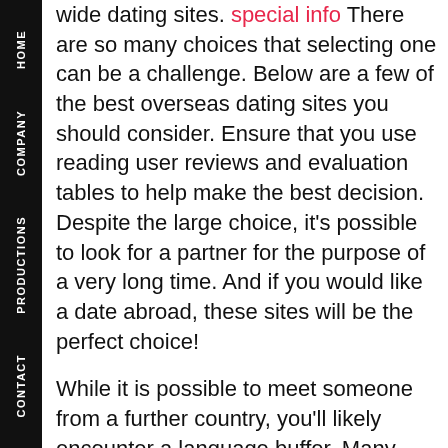HOME | COMPANY | PRODUCTIONS | CONTACT
wide dating sites. special info There are so many choices that selecting one can be a challenge. Below are a few of the best overseas dating sites you should consider. Ensure that you use reading user reviews and evaluation tables to help make the best decision. Despite the large choice, it's possible to look for a partner for the purpose of a very long time. And if you would like a date abroad, these sites will be the perfect choice!

While it is possible to meet someone from a further country, you'll likely encounter a language buffer. Many long associations fail to last due to language barriers. Learning a foreign terminology can take period, cash, and effort. And you might get fed up of the same old point over again. With international online dating sites, you can make it easier to get a